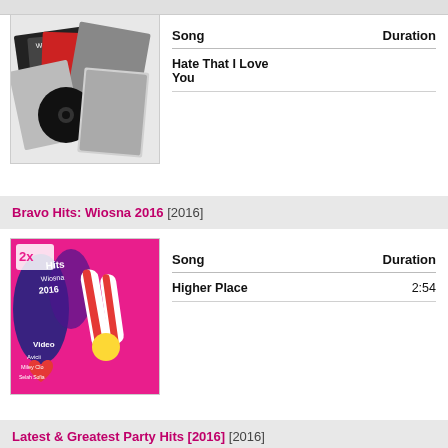[Figure (photo): Album cover showing multiple CD/vinyl records spread out, black and white and color imagery]
| Song | Duration |
| --- | --- |
| Hate That I Love You |  |
Bravo Hits: Wiosna 2016 [2016]
[Figure (photo): Colorful album cover for Bravo Hits Wiosna 2016 with text: Hits, Wiosna 2016, Video, Avicii, and other artist names on bright pink and multicolor background]
| Song | Duration |
| --- | --- |
| Higher Place | 2:54 |
Latest & Greatest Party Hits [2016] [2016]